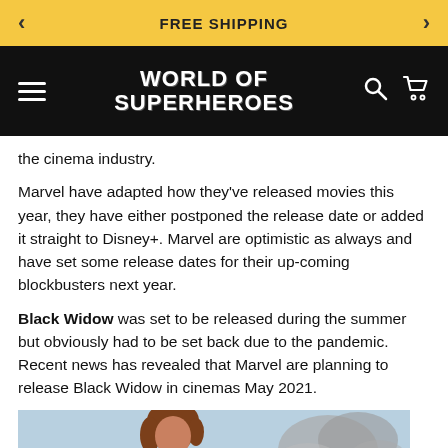FREE SHIPPING
WORLD OF SUPERHEROES
the cinema industry.
Marvel have adapted how they've released movies this year, they have either postponed the release date or added it straight to Disney+. Marvel are optimistic as always and have set some release dates for their up-coming blockbusters next year.
Black Widow was set to be released during the summer but obviously had to be set back due to the pandemic. Recent news has revealed that Marvel are planning to release Black Widow in cinemas May 2021.
[Figure (photo): Photo of a woman (Black Widow) with smoke/explosion in the background]